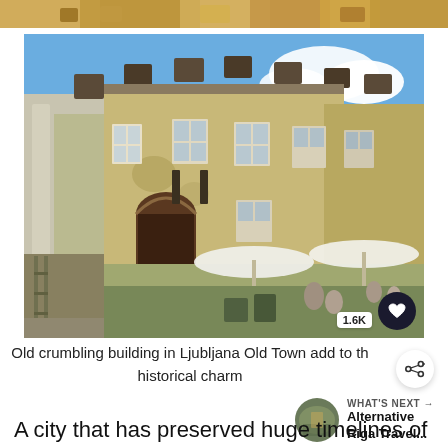[Figure (photo): Partial top strip of a photo showing chairs/tables in warm tones]
[Figure (photo): Old crumbling building in Ljubljana Old Town with outdoor cafe seating and umbrellas, blue sky background]
Old crumbling building in Ljubljana Old Town add to the historical charm
[Figure (photo): Small circular thumbnail of Alternative Riga cityscape for 'What's Next' recommendation]
WHAT'S NEXT → Alternative Riga Travel...
A city that has preserved huge timelines of